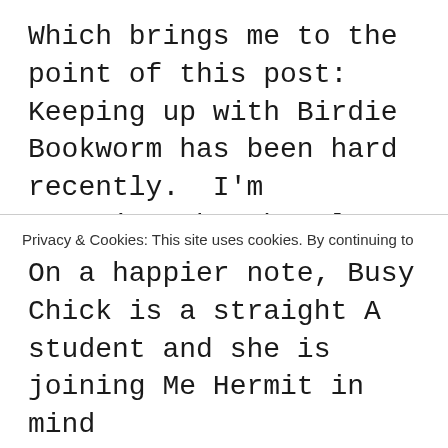Which brings me to the point of this post:  Keeping up with Birdie Bookworm has been hard recently.  I'm managing, but barely, and I don't have a lot of time left to go visiting.  I am still popping around if I can, but my time is limited right now.  I should take some time away, but I'm way too committed to Birdie Bookworm to think about a hiatus right now, so I'm definitely not going anywhere.  I may be a bit quieter while I figure out how to balance all this new strife in my life, and while I learn to not be so militant about my blogging schedule.  A date change only effects me, and probably in a
Privacy & Cookies: This site uses cookies. By continuing to use this website, you agree to their use.
To find out more, including how to control cookies, see here: Cookie Policy
On a happier note, Busy Chick is a straight A student and she is joining Me Hermit in mind